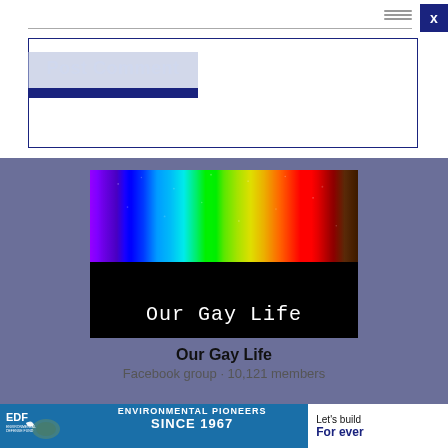[Figure (screenshot): Post Comment button UI element with dark blue bar at bottom, inside a bordered form area. Close (x) button in top right corner.]
[Figure (screenshot): Facebook group widget showing 'Our Gay Life' group with rainbow banner image. Text: 'Our Gay Life', 'Facebook group · 10,121 members']
Our Gay Life
Facebook group · 10,121 members
[Figure (screenshot): EDF (Environmental Defense Fund) advertisement banner. Text: 'ENVIRONMENTAL PIONEERS SINCE 1967', 'Let's build', 'For ever'. Shows turtle underwater and EDF logo.]